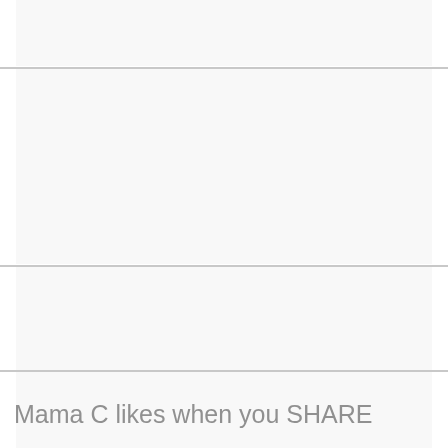[Figure (other): Top banner/advertisement block — light gray background rectangle]
[Figure (other): Middle banner/advertisement block — light gray background rectangle]
[Figure (illustration): Adoption Bloggers Interview Project 2011 badge/logo with feather watermark image. Text reads: adoption bloggers INTERVIEW PROJECT 2011]
Mama C likes when you SHARE